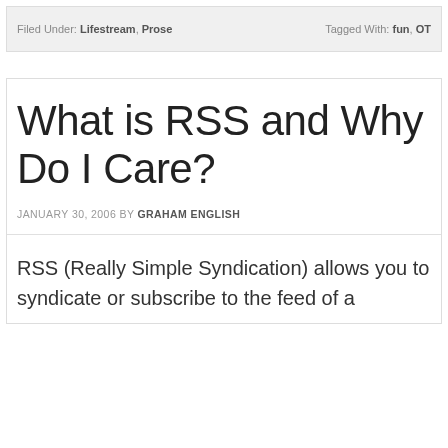Filed Under: Lifestream, Prose   Tagged With: fun, OT
What is RSS and Why Do I Care?
JANUARY 30, 2006 BY GRAHAM ENGLISH
RSS (Really Simple Syndication) allows you to syndicate or subscribe to the feed of a